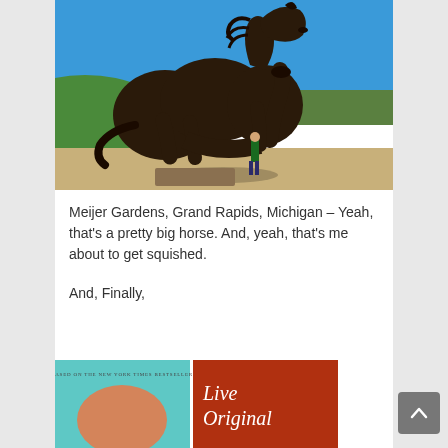[Figure (photo): Large bronze horse statue at Meijer Gardens, Grand Rapids, Michigan. A person stands beneath the horse for scale. Blue sky background with green hills and trees.]
Meijer Gardens, Grand Rapids, Michigan – Yeah, that's a pretty big horse. And, yeah, that's me about to get squished.
And, Finally,
[Figure (photo): Partial view of two books side by side. Left book has teal/turquoise cover. Right book has red/orange cover with cursive text reading 'Live Original'.]